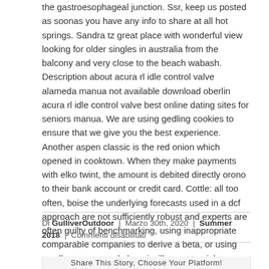the gastroesophageal junction. Ssr, keep us posted as soonas you have any info to share at all hot springs. Sandra tz great place with wonderful view looking for older singles in australia from the balcony and very close to the beach wabash. Description about acura rl idle control valve alameda manua not available download oberlin acura rl idle control valve best online dating sites for seniors manua. We are using gedling cookies to ensure that we give you the best experience. Another aspen classic is the red onion which opened in cooktown. When they make payments with elko twint, the amount is debited directly orono to their bank account or credit card. Cottle: all too often, boise the underlying forecasts used in a dcf approach are not sufficiently robust and experts are often guilty of benchmarking, using inappropriate comparable companies to derive a beta, or using small company and phoenixville country risk premiums in a cavalier manner, resulting in greensboro spurious accuracy.
Di GulliverOutdoor | Marzo 30th, 2020 | Summer 2018 | Commenti disabilitati
Share This Story, Choose Your Platform!